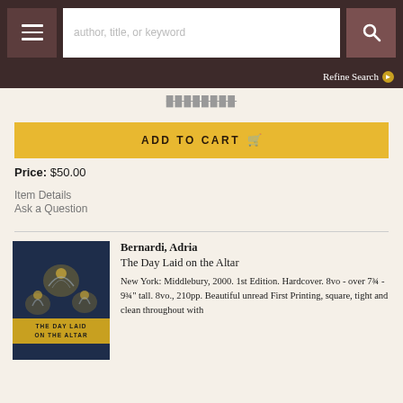author, title, or keyword | Refine Search
ADD TO CART
Price: $50.00
Item Details
Ask a Question
[Figure (photo): Book cover of 'The Day Laid on the Altar' showing angels with halos on a dark blue background, with a yellow title band at the bottom]
Bernardi, Adria
The Day Laid on the Altar
New York: Middlebury, 2000. 1st Edition. Hardcover. 8vo - over 7¾ - 9¾" tall. 8vo., 210pp. Beautiful unread First Printing, square, tight and clean throughout with